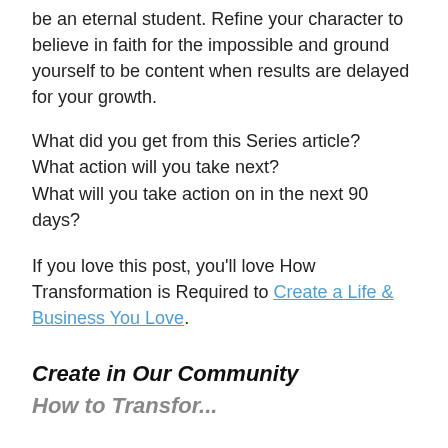be an eternal student. Refine your character to believe in faith for the impossible and ground yourself to be content when results are delayed for your growth.
What did you get from this Series article?
What action will you take next?
What will you take action on in the next 90 days?
If you love this post, you'll love How Transformation is Required to Create a Life & Business You Love.
Create in Our Community
How to Transform...